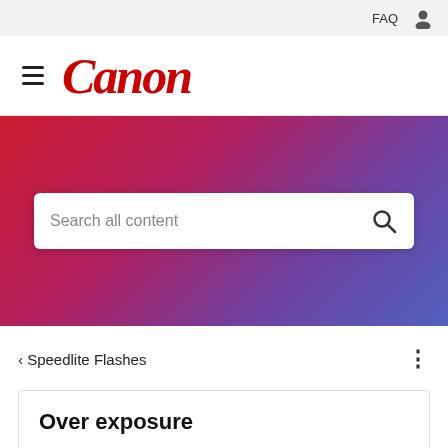FAQ
[Figure (logo): Canon logo in red italic serif font with hamburger menu icon to the left]
[Figure (screenshot): Hero banner with red to purple gradient background containing a search box with placeholder text 'Search all content' and a search icon]
< Speedlite Flashes
Over exposure